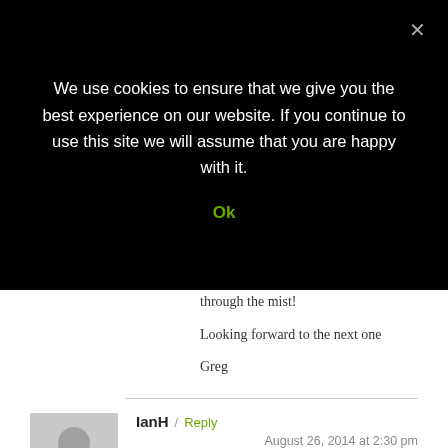We use cookies to ensure that we give you the best experience on our website. If you continue to use this site we will assume that you are happy with it.
Ok
through the mist!
Looking forward to the next one
Greg
IanH / Reply August 26, 2014 at 2:30 pm
Thanks Jo, Win Hill is a great little climb that gives you plenty of “bang for your buck” and with the heather looking the way it does at the moment, the Dark Peak should be on everyone’s